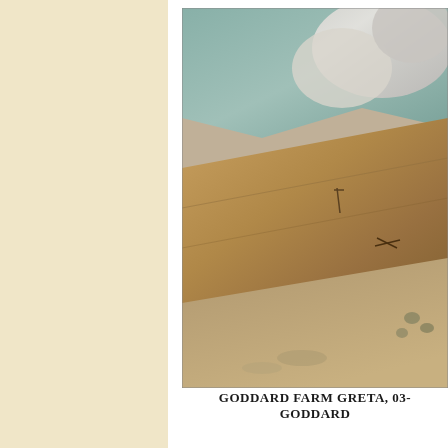[Figure (photo): Photograph showing a wooden surface or board with scratches/marks, fabric or bedding material in teal/white in the upper portion, and a dusty/dirty floor at the bottom with paw prints visible in the lower right area.]
GODDARD FARM GRETA, 03-
GODDARD